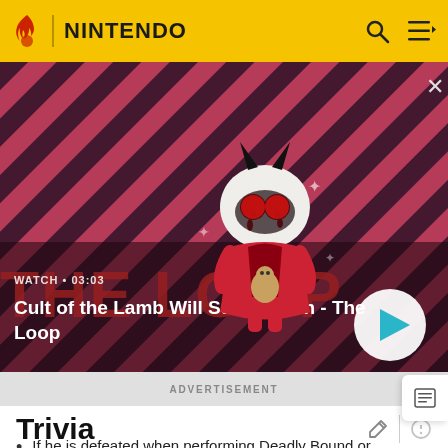NINTENDO
[Figure (screenshot): Video thumbnail for 'Cult of the Lamb Will Suck You In - The Loop' showing game character on red and dark diagonal striped background with play button and watch time 03:03]
ADVERTISEMENT
Trivia
If he is defeated when performing Deadly Bound or